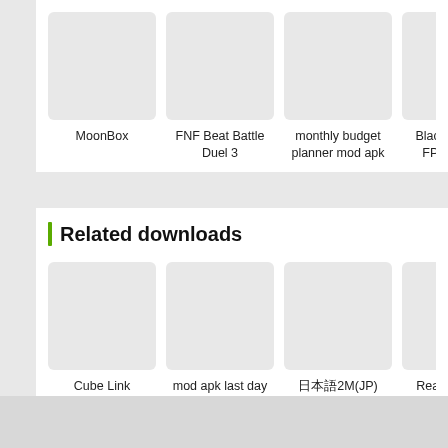[Figure (screenshot): App thumbnails row: MoonBox, FNF Beat Battle Duel 3, monthly budget planner mod apk, Black Bell Tact FPS Shoote]
MoonBox
FNF Beat Battle Duel 3
monthly budget planner mod apk
Black Bell Tact FPS Shoote
Related downloads
[Figure (screenshot): App thumbnails row: Cube Link, mod apk last day on earth, 日本語2M(JP), Real Steel Wo Robot Boxin]
Cube Link
mod apk last day on earth
日本語2M(JP)
Real Steel Wo Robot Boxin